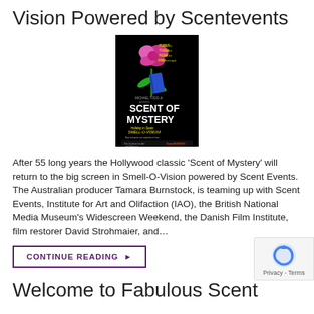Vision Powered by Scentevents
[Figure (illustration): Movie poster for 'Scent of Mystery' on black background with a pink rose, blue pencil/book, and yellow text reading FIRST, THEN, NOW, AND. Title reads SCENT OF MYSTERY in large white and yellow letters.]
After 55 long years the Hollywood classic ‘Scent of Mystery’ will return to the big screen in Smell-O-Vision powered by Scent Events. The Australian producer Tamara Burnstock, is teaming up with Scent Events,  Institute for Art and Olifaction (IAO), the British National Media Museum’s Widescreen Weekend, the Danish Film Institute, film restorer David Strohmaier, and…
CONTINUE READING ►
Welcome to Fabulous Scent